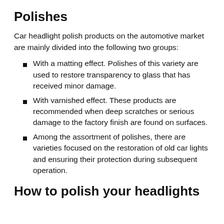Polishes
Car headlight polish products on the automotive market are mainly divided into the following two groups:
With a matting effect. Polishes of this variety are used to restore transparency to glass that has received minor damage.
With varnished effect. These products are recommended when deep scratches or serious damage to the factory finish are found on surfaces.
Among the assortment of polishes, there are varieties focused on the restoration of old car lights and ensuring their protection during subsequent operation.
How to polish your headlights